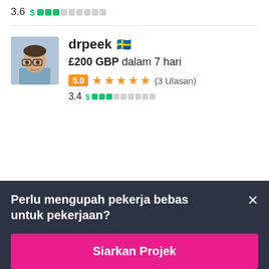3.6 $ [bar indicator]
[Figure (illustration): Profile photo of freelancer drpeek, a man with glasses]
drpeek 🇸🇪
£200 GBP dalam 7 hari
5.0 ★★★★★ (3 Ulasan)
3.4 $ [bar indicator]
Perlu mengupah pekerja bebas untuk pekerjaan?
Siarkan Projek